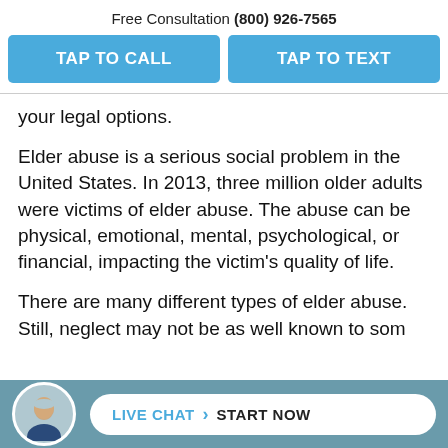Free Consultation (800) 926-7565
TAP TO CALL
TAP TO TEXT
your legal options.
Elder abuse is a serious social problem in the United States. In 2013, three million older adults were victims of elder abuse. The abuse can be physical, emotional, mental, psychological, or financial, impacting the victim’s quality of life.
There are many different types of elder abuse. Still, neglect may not be as well known to some people.
[Figure (photo): Bald man in suit - live chat avatar]
LIVE CHAT › START NOW